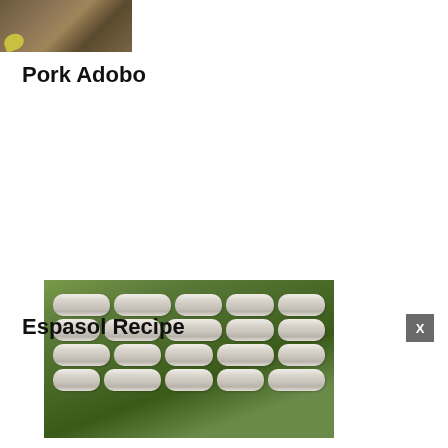[Figure (photo): Partial top photo of a food dish, appears to be Pork Adobo with garlic and sauce]
Pork Adobo
[Figure (photo): Image of Espasol - white cylindrical rice cake rolls arranged on banana leaves on a plate]
Espasol Recipe
[Figure (other): Advertisement banner: Make an impact with insights. Empower business leaders to access data in all formats to make insightful decision faster. Sense Forth. Open button.]